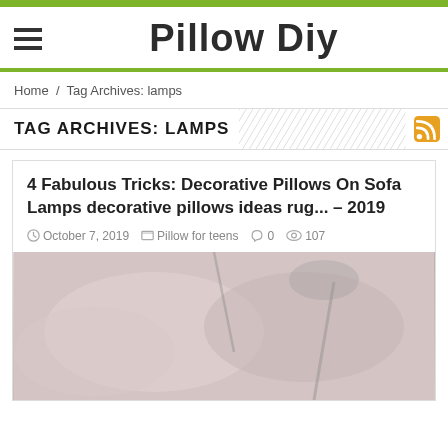Pillow Diy
Home / Tag Archives: lamps
TAG ARCHIVES: LAMPS
4 Fabulous Tricks: Decorative Pillows On Sofa Lamps decorative pillows ideas rug... – 2019
October 7, 2019  Pillow for teens  0  107
[Figure (photo): Decorative pillow image with soft pink/mauve tones showing pillows on a sofa]